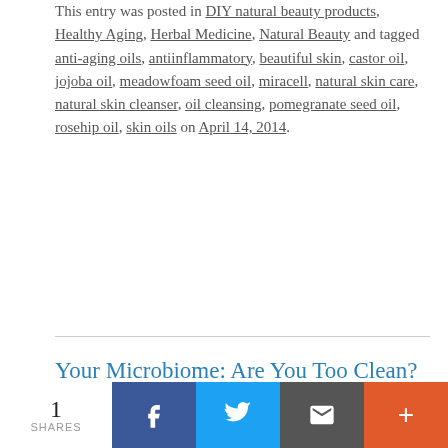This entry was posted in DIY natural beauty products, Healthy Aging, Herbal Medicine, Natural Beauty and tagged anti-aging oils, antiinflammatory, beautiful skin, castor oil, jojoba oil, meadowfoam seed oil, miracell, natural skin care, natural skin cleanser, oil cleansing, pomegranate seed oil, rosehip oil, skin oils on April 14, 2014.
Your Microbiome: Are You Too Clean?
Your microbiome is getting a lot more attention lately, which makes sense because as of 10 years ago nobody even knew the word “microbiome” let alone had any idea why they should pay attention to it. Your microbiome, according to Joshua Lederberg who coined the term, is:
1 SHARES  [Facebook] [Twitter] [Email] [More]